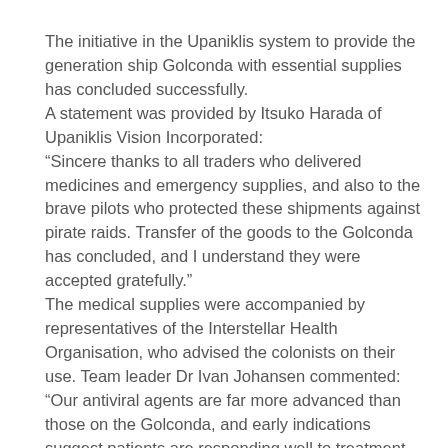The initiative in the Upaniklis system to provide the generation ship Golconda with essential supplies has concluded successfully. A statement was provided by Itsuko Harada of Upaniklis Vision Incorporated: “Sincere thanks to all traders who delivered medicines and emergency supplies, and also to the brave pilots who protected these shipments against pirate raids. Transfer of the goods to the Golconda has concluded, and I understand they were accepted gratefully.” The medical supplies were accompanied by representatives of the Interstellar Health Organisation, who advised the colonists on their use. Team leader Dr Ivan Johansen commented: “Our antiviral agents are far more advanced than those on the Golconda, and early indications suggest patients are responding well to treatment. Hopefully we have halted the outbreak of what the colony calls